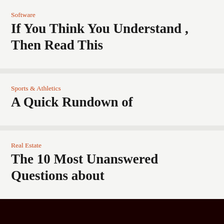Software
If You Think You Understand , Then Read This
Sports & Athletics
A Quick Rundown of
Real Estate
The 10 Most Unanswered Questions about